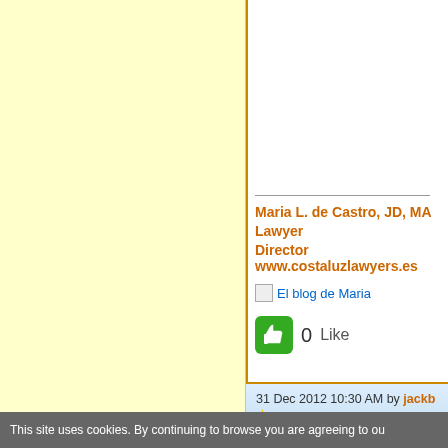[Figure (other): Yellow advertisement panel on the left side of the page]
Maria L. de Castro, JD, MA
Lawyer
Director www.costaluzlawyers.es
El blog de Maria
0  Like
31 Dec 2012 10:30 AM by jackb
how much money did they get back
This site uses cookies. By continuing to browse you are agreeing to ou